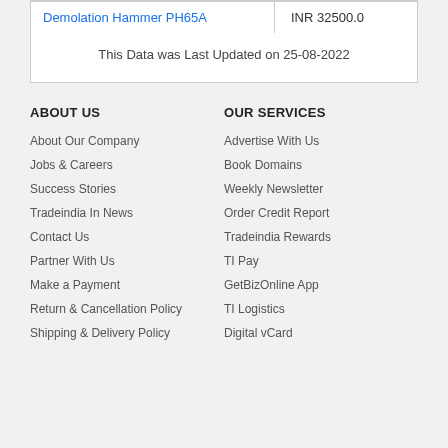| Demolation Hammer PH65A | INR 32500.0 |
This Data was Last Updated on 25-08-2022
ABOUT US
About Our Company
Jobs & Careers
Success Stories
Tradeindia In News
Contact Us
Partner With Us
Make a Payment
Return & Cancellation Policy
Shipping & Delivery Policy
OUR SERVICES
Advertise With Us
Book Domains
Weekly Newsletter
Order Credit Report
Tradeindia Rewards
TI Pay
GetBizOnline App
TI Logistics
Digital vCard